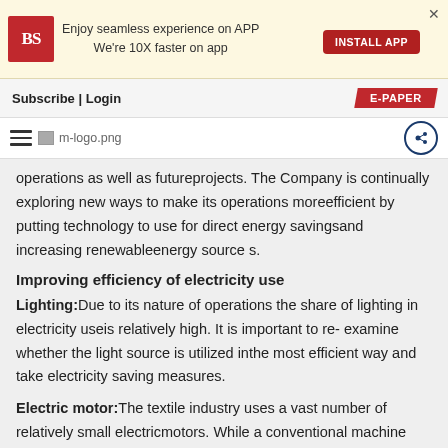[Figure (other): Business Standard app advertisement banner with BS logo, text 'Enjoy seamless experience on APP We're 10X faster on app', INSTALL APP button, and close X button]
Subscribe | Login   E-PAPER
[Figure (logo): Hamburger menu icon, m-logo.png image placeholder, and share icon on right]
operations as well as futureprojects. The Company is continually exploring new ways to make its operations moreefficient by putting technology to use for direct energy savingsand increasing renewableenergy source s.
Improving efficiency of electricity use
Lighting: Due to its nature of operations the share of lighting in electricity useis relatively high. It is important to re- examine whether the light source is utilized inthe most efficient way and take electricity saving measures.
Electric motor: The textile industry uses a vast number of relatively small electricmotors. While a conventional machine was driven by a single motor with the generatedmechanical power transmitted to various parts of the machine in a collective manner manymodern machines utilize multiple